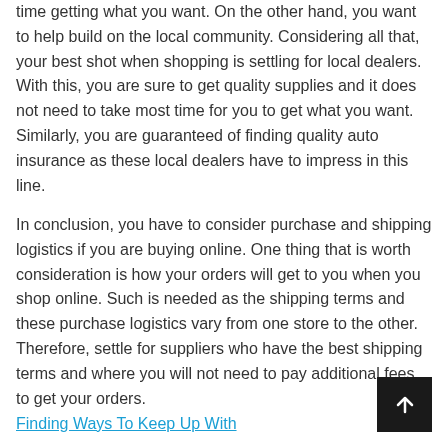time getting what you want. On the other hand, you want to help build on the local community. Considering all that, your best shot when shopping is settling for local dealers. With this, you are sure to get quality supplies and it does not need to take most time for you to get what you want. Similarly, you are guaranteed of finding quality auto insurance as these local dealers have to impress in this line.
In conclusion, you have to consider purchase and shipping logistics if you are buying online. One thing that is worth consideration is how your orders will get to you when you shop online. Such is needed as the shipping terms and these purchase logistics vary from one store to the other. Therefore, settle for suppliers who have the best shipping terms and where you will not need to pay additional fees to get your orders.
Finding Ways To Keep Up With